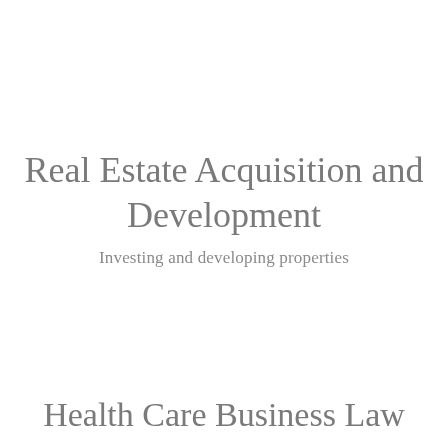Real Estate Acquisition and Development
Investing and developing properties
Health Care Business Law